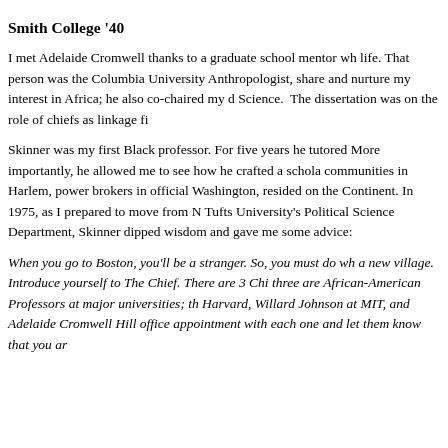Smith College '40
I met Adelaide Cromwell thanks to a graduate school mentor wh life. That person was the Columbia University Anthropologist, share and nurture my interest in Africa; he also co-chaired my d Science.  The dissertation was on the role of chiefs as linkage fi
Skinner was my first Black professor. For five years he tutored More importantly, he allowed me to see how he crafted a schola communities in Harlem, power brokers in official Washington, a resided on the Continent. In 1975, as I prepared to move from N Tufts University's Political Science Department, Skinner dipped wisdom and gave me some advice:
When you go to Boston, you'll be a stranger. So, you must do wh a new village.  Introduce yourself to The Chief. There are 3 Chi three are African-American Professors at major universities; th Harvard, Willard Johnson at MIT, and Adelaide Cromwell Hill office appointment with each one and let them know that you ar